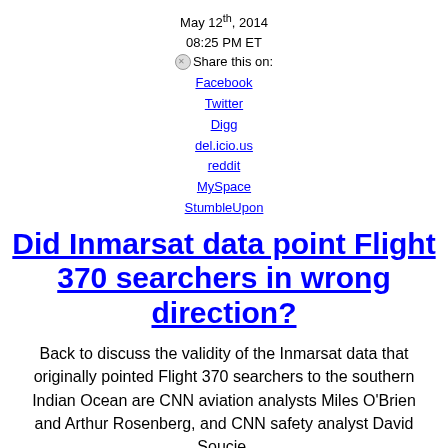May 12th, 2014
08:25 PM ET
Share this on:
Facebook
Twitter
Digg
del.icio.us
reddit
MySpace
StumbleUpon
Did Inmarsat data point Flight 370 searchers in wrong direction?
Back to discuss the validity of the Inmarsat data that originally pointed Flight 370 searchers to the southern Indian Ocean are CNN aviation analysts Miles O'Brien and Arthur Rosenberg, and CNN safety analyst David Soucie.